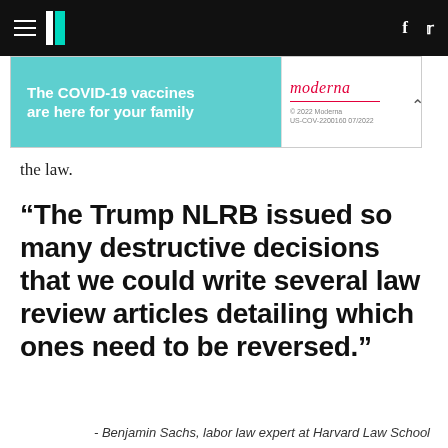HuffPost navigation bar with hamburger menu, logo, Facebook and Twitter icons
[Figure (screenshot): Moderna COVID-19 vaccine advertisement banner. Left side teal/cyan background reads 'The COVID-19 vaccines are here for your family'. Right side white background with Moderna logo and legal text '© 2022 Moderna US-COV-2200160 07/2022']
the law.
“The Trump NLRB issued so many destructive decisions that we could write several law review articles detailing which ones need to be reversed.”
- Benjamin Sachs, labor law expert at Harvard Law School